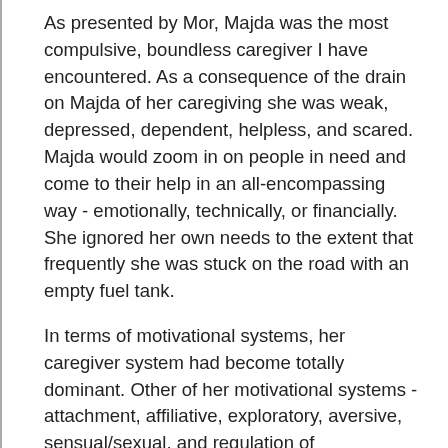As presented by Mor, Majda was the most compulsive, boundless caregiver I have encountered. As a consequence of the drain on Majda of her caregiving she was weak, depressed, dependent, helpless, and scared. Majda would zoom in on people in need and come to their help in an all-encompassing way - emotionally, technically, or financially. She ignored her own needs to the extent that frequently she was stuck on the road with an empty fuel tank.
In terms of motivational systems, her caregiver system had become totally dominant. Other of her motivational systems - attachment, affiliative, exploratory, aversive, sensual/sexual, and regulation of physiological requirements - had become insignificant in her daily life, a massive drain on vitality. The adaptive development of the caregiver system begins with altruistic responses of 18-20-month-old infants to the distress of others. The infants will respond to the distress of their mother and others with whatever has soothed them - offering a bottle, a gentle pat,